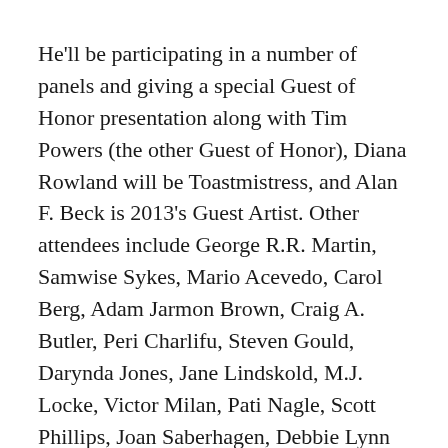He'll be participating in a number of panels and giving a special Guest of Honor presentation along with Tim Powers (the other Guest of Honor), Diana Rowland will be Toastmistress, and Alan F. Beck is 2013's Guest Artist. Other attendees include George R.R. Martin, Samwise Sykes, Mario Acevedo, Carol Berg, Adam Jarmon Brown, Craig A. Butler, Peri Charlifu, Steven Gould, Darynda Jones, Jane Lindskold, M.J. Locke, Victor Milan, Pati Nagle, Scott Phillips, Joan Saberhagen, Debbie Lynn Smith, Melinda Snodgrass, Gabi Stevens, S.M. Stirling, David Lee Summers, Ian Tregillis, Robert E. Vardeman, Carrie Vaughn, Walter Jon Williams, Connie Willis and Courtney Willis.